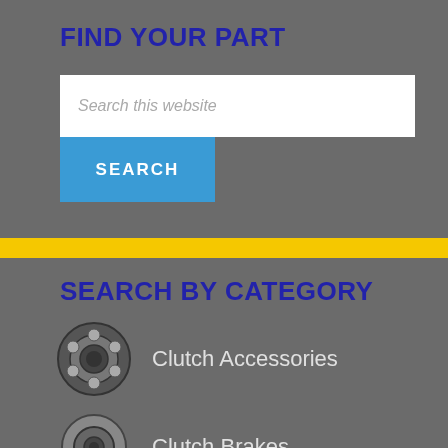FIND YOUR PART
Search this website
SEARCH
SEARCH BY CATEGORY
Clutch Accessories
Clutch Brakes
Clutch Installation Kits